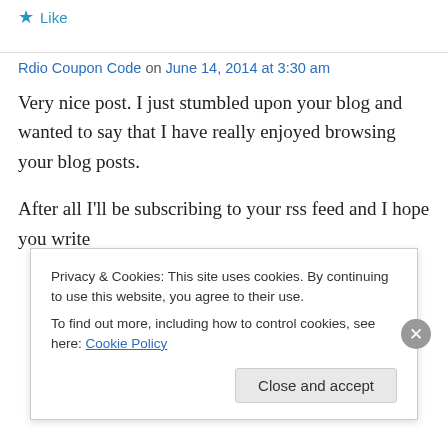★ Like
Rdio Coupon Code on June 14, 2014 at 3:30 am
Very nice post. I just stumbled upon your blog and wanted to say that I have really enjoyed browsing your blog posts.

After all I'll be subscribing to your rss feed and I hope you write
Privacy & Cookies: This site uses cookies. By continuing to use this website, you agree to their use.
To find out more, including how to control cookies, see here: Cookie Policy
Close and accept